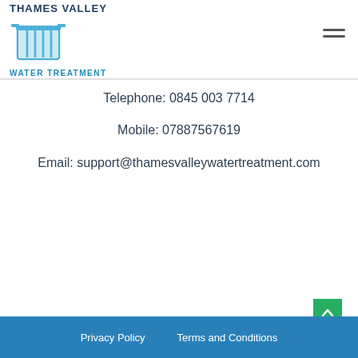[Figure (logo): Thames Valley Water Treatment logo with blue water tank icon, text THAMES VALLEY on top and WATER TREATMENT below]
Telephone: 0845 003 7714
Mobile: 07887567619
Email: support@thamesvalleywatertreatment.com
Privacy Policy   Terms and Conditions